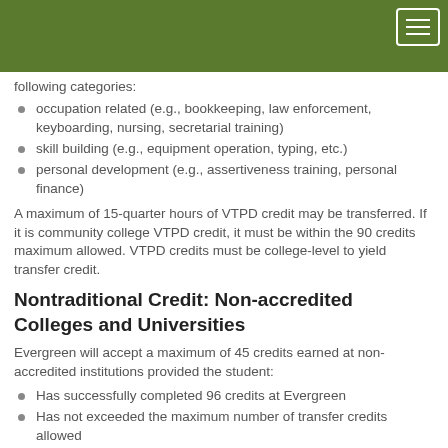following categories:
occupation related (e.g., bookkeeping, law enforcement, keyboarding, nursing, secretarial training)
skill building (e.g., equipment operation, typing, etc.)
personal development (e.g., assertiveness training, personal finance)
A maximum of 15-quarter hours of VTPD credit may be transferred. If it is community college VTPD credit, it must be within the 90 credits maximum allowed. VTPD credits must be college-level to yield transfer credit.
Nontraditional Credit: Non-accredited Colleges and Universities
Evergreen will accept a maximum of 45 credits earned at non-accredited institutions provided the student:
Has successfully completed 96 credits at Evergreen
Has not exceeded the maximum number of transfer credits allowed